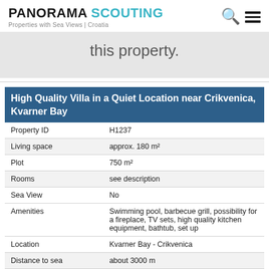PANORAMA SCOUTING – Properties with Sea Views | Croatia
this property.
|  |  |
| --- | --- |
| Property ID | H1237 |
| Living space | approx. 180 m² |
| Plot | 750 m² |
| Rooms | see description |
| Sea View | No |
| Amenities | Swimming pool, barbecue grill, possibility for a fireplace, TV sets, high quality kitchen equipment, bathtub, set up |
| Location | Kvarner Bay - Crikvenica |
| Distance to sea | about 3000 m |
| Distance to center | about 800 m |